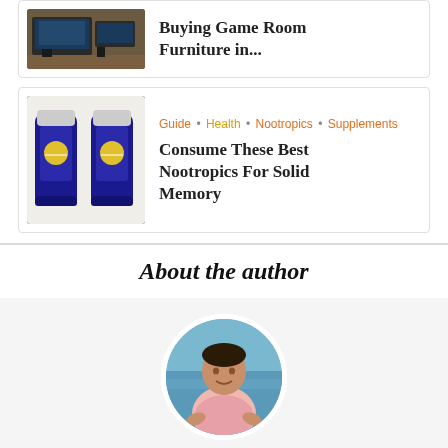[Figure (photo): Photo of a game room desk setup with monitors and furniture]
Buying Game Room Furniture in...
[Figure (photo): Two blue supplement bottles (nootropics)]
Guide • Health • Nootropics • Supplements
Consume These Best Nootropics For Solid Memory
About the author
[Figure (photo): Circular profile photo of Robert, a man in a pink shirt standing near the sea]
Robert
Robert loves the sea and dreams of getting a home with a beachfront. He used to be a Data Scientist in a multinational company but left his job to follow his passion for writing.